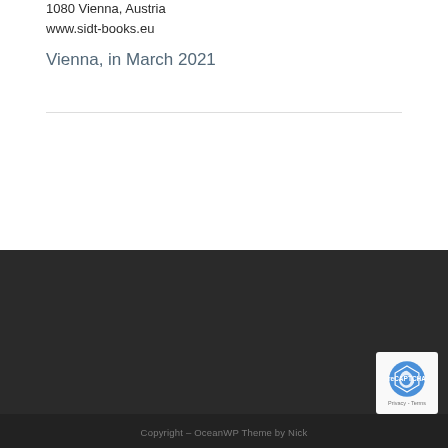1080 Vienna, Austria
www.sidt-books.eu
Vienna, in March 2021
Copyright – OceanWP Theme by Nick